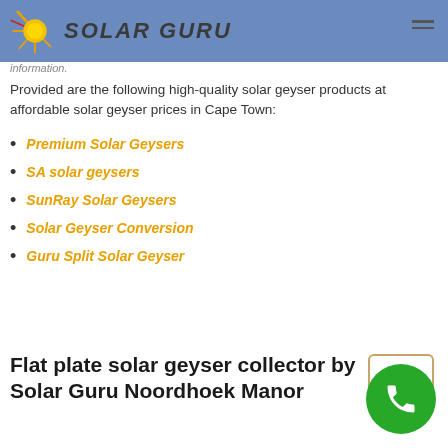SOLAR GURU
information.
Provided are the following high-quality solar geyser products at affordable solar geyser prices in Cape Town:
Premium Solar Geysers
SA solar geysers
SunRay Solar Geysers
Solar Geyser Conversion
Guru Split Solar Geyser
Flat plate solar geyser collector by Solar Guru Noordhoek Manor